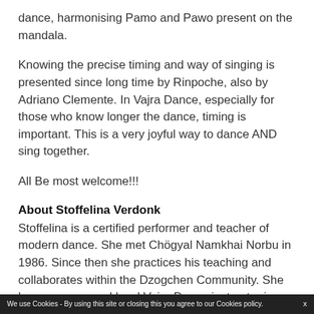dance, harmonising Pamo and Pawo present on the mandala.
Knowing the precise timing and way of singing is presented since long time by Rinpoche, also by Adriano Clemente. In Vajra Dance, especially for those who know longer the dance, timing is important. This is a very joyful way to dance AND sing together.
All Be most welcome!!!
About Stoffelina Verdonk
Stoffelina is a certified performer and teacher of modern dance. She met Chögyal Namkhai Norbu in 1986. Since then she practices his teaching and collaborates within the Dzogchen Community. She became a second level Vajra Dance instructor in 1993, travelling to teach and practice Vajra Dance in and outside the International Dzogchen Community, and she is a very inspired and experienced Vajra
We use Cookies - By using this site or closing this you agree to our Cookies policy.